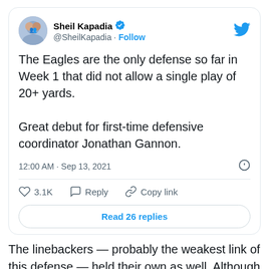[Figure (screenshot): Tweet by Sheil Kapadia (@SheilKapadia) with Twitter verified badge. Avatar shows a profile photo of two people. Tweet text: 'The Eagles are the only defense so far in Week 1 that did not allow a single play of 20+ yards. Great debut for first-time defensive coordinator Jonathan Gannon.' Posted at 12:00 AM · Sep 13, 2021. 3.1K likes. Actions: Reply, Copy link. Button: Read 26 replies.]
The linebackers — probably the weakest link of this defense — held their own as well. Although they are the weakest position group on the defense, they were not a weakness on Sunday. The top two backers, Alex